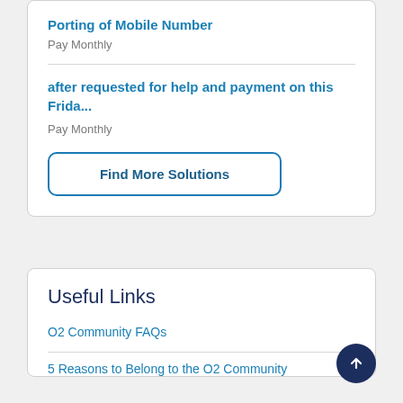Porting of Mobile Number
Pay Monthly
after requested for help and payment on this Frida...
Pay Monthly
Find More Solutions
Useful Links
O2 Community FAQs
5 Reasons to Belong to the O2 Community